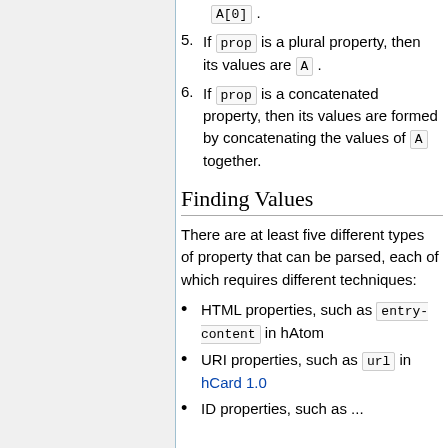A[0] .
5. If prop is a plural property, then its values are A .
6. If prop is a concatenated property, then its values are formed by concatenating the values of A together.
Finding Values
There are at least five different types of property that can be parsed, each of which requires different techniques:
HTML properties, such as entry-content in hAtom
URI properties, such as url in hCard 1.0
ID properties, such as...